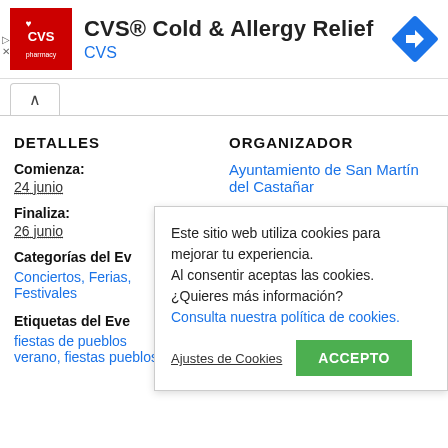[Figure (screenshot): CVS Pharmacy advertisement banner with red logo, title 'CVS® Cold & Allergy Relief', subtitle 'CVS', and blue diamond arrow icon on the right]
DETALLES
ORGANIZADOR
Comienza:
24 junio
Ayuntamiento de San Martín del Castañar
Ver la web Organizador
Finaliza:
26 junio
Categorías del Ev
Conciertos, Ferias, Festivales
Etiquetas del Eve
fiestas de pueblos
verano, fiestas pueblos
Este sitio web utiliza cookies para mejorar tu experiencia. Al consentir aceptas las cookies. ¿Quieres más información? Consulta nuestra política de cookies.
Ajustes de Cookies
ACCEPTO